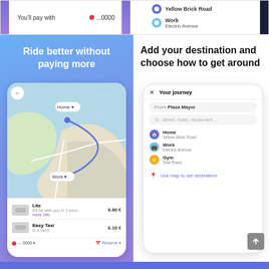[Figure (screenshot): Top left: payment strip showing 'You'll pay with' and Mastercard ...0000]
[Figure (screenshot): Top right: saved locations strip showing Yellow Brick Road and Work at Electric Avenue]
[Figure (screenshot): Left section: ride-hailing app screenshot with map, route from Home to Work, Lite 8.80€ and Easy Taxi 6.10€ options, blue gradient background with title 'Ride better without paying more']
[Figure (screenshot): Right section: ride-hailing app destination screen titled 'Add your destination and choose how to get around', showing Your journey panel with From Plaza Mayor, To field, saved locations Home/Yellow Brick Road, Work/Electric Avenue, Gym/Sea Road, and Use map to set destination link]